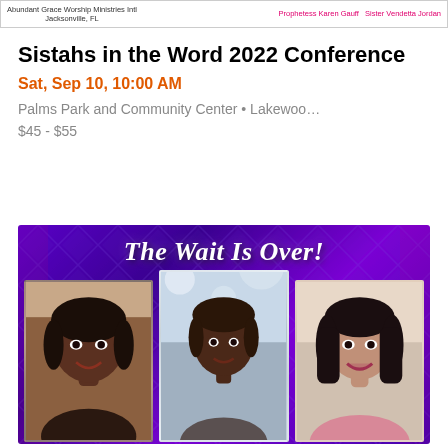Abundant Grace Worship Ministries Intl Jacksonville, FL | Prophetess Karen Gauff  Sister Vendetta Jordan
Sistahs in the Word 2022 Conference
Sat, Sep 10, 10:00 AM
Palms Park and Community Center • Lakewoo…
$45 - $55
[Figure (photo): Event promotional banner reading 'The Wait Is Over!' on a blue diamond-pattern background with three women's portrait photos side by side]